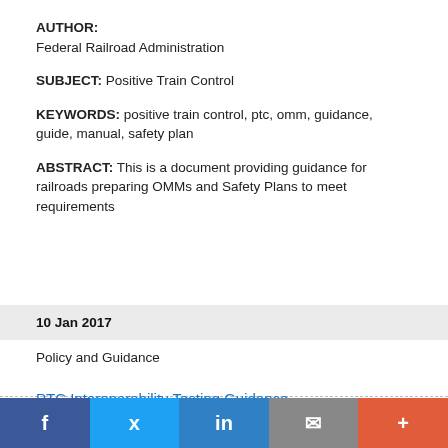AUTHOR: Federal Railroad Administration
SUBJECT: Positive Train Control
KEYWORDS: positive train control, ptc, omm, guidance, guide, manual, safety plan
ABSTRACT: This is a document providing guidance for railroads preparing OMMs and Safety Plans to meet requirements
10 Jan 2017
Policy and Guidance
PTC Interoperability Testing Guidance
[Figure (infographic): Social media share bar with Facebook, Twitter, LinkedIn, Email, and More buttons]